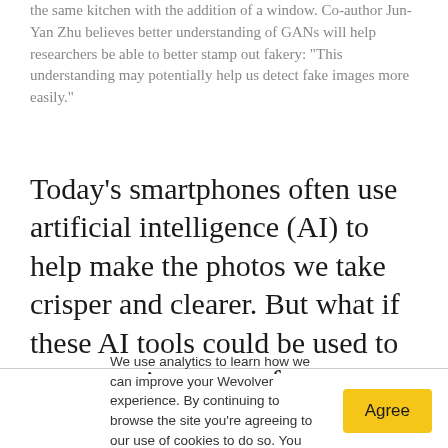the same kitchen with the addition of a window. Co-author Jun-Yan Zhu believes better understanding of GANs will help researchers be able to better stamp out fakery: “This understanding may potentially help us detect fake images more easily.”
Today’s smartphones often use artificial intelligence (AI) to help make the photos we take crisper and clearer. But what if these AI tools could be used to create entire scenes from scratch?
We use analytics to learn how we can improve your Wevolver experience. By continuing to browse the site you’re agreeing to our use of cookies to do so. You can read our cookie policy here.